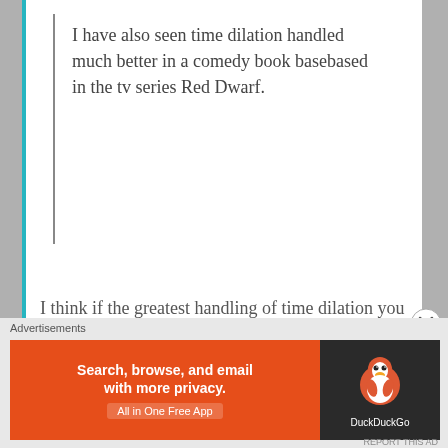I have also seen time dilation handled much better in a comedy book basebased in the tv series Red Dwarf.
I think if the greatest handling of time dilation you can think of outside Interstellar is a random British comedy series, then Christopher Nolan will be quite happy with that.
So many characters were there just to explain what was happening or were underdeveloped.
Advertisements
[Figure (screenshot): DuckDuckGo advertisement banner: orange section with text 'Search, browse, and email with more privacy. All in One Free App' and dark section with DuckDuckGo duck logo]